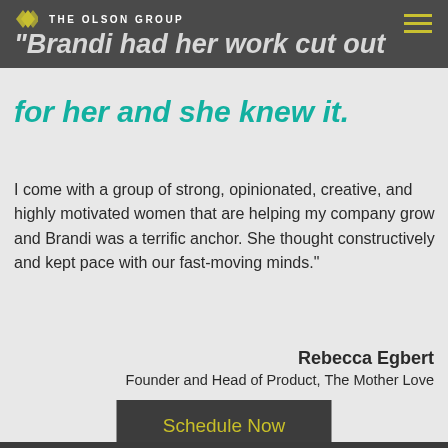THE OLSON GROUP
“Brandi had her work cut out for her and she knew it.
I come with a group of strong, opinionated, creative, and highly motivated women that are helping my company grow and Brandi was a terrific anchor. She thought constructively and kept pace with our fast-moving minds.”
Rebecca Egbert
Founder and Head of Product, The Mother Love
Schedule Now